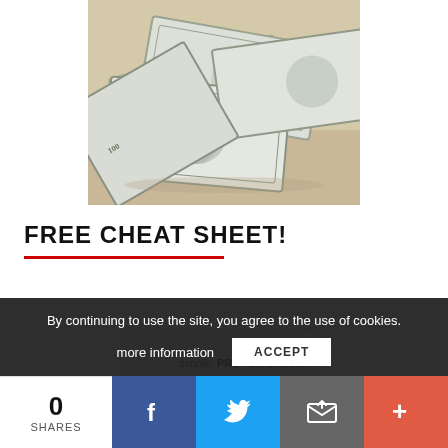[Figure (photo): Pile of US $100 dollar bills scattered on a tan/beige surface]
FREE CHEAT SHEET!
[Figure (photo): Cheat sheet booklet with text 'simple, PROVEN Secrets to' and 'BREAK THE CODE' visible]
By continuing to use the site, you agree to the use of cookies.
more information
ACCEPT
0 SHARES